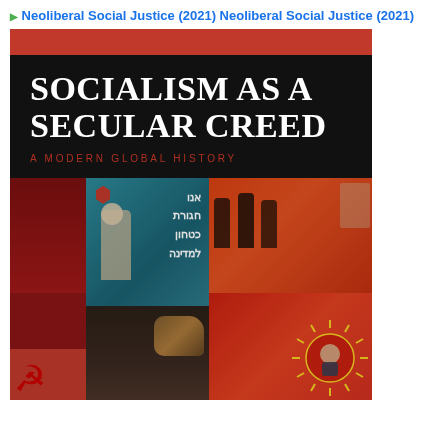Neoliberal Social Justice (2021) Neoliberal Social Justice (2021)
[Figure (illustration): Book cover for 'Socialism as a Secular Creed: A Modern Global History'. The cover has a red bar at the top, a black section with large white serif text for the title and red subtitle text, and a bottom collage of historical images including Soviet propaganda imagery, Hebrew text poster, figures resembling Marx and Lenin, Mao, a tiger, and other revolutionary iconography in red, teal, and brown tones.]